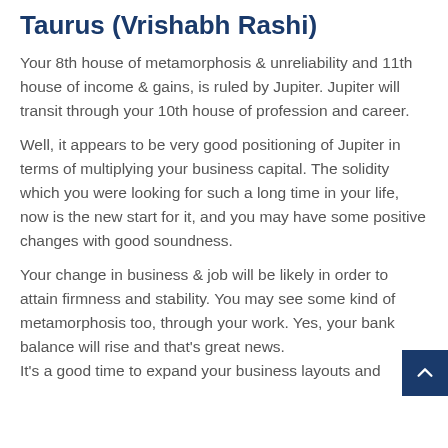Taurus (Vrishabh Rashi)
Your 8th house of metamorphosis & unreliability and 11th house of income & gains, is ruled by Jupiter. Jupiter will transit through your 10th house of profession and career.
Well, it appears to be very good positioning of Jupiter in terms of multiplying your business capital. The solidity which you were looking for such a long time in your life, now is the new start for it, and you may have some positive changes with good soundness.
Your change in business & job will be likely in order to attain firmness and stability. You may see some kind of metamorphosis too, through your work. Yes, your bank balance will rise and that's great news. It's a good time to expand your business layouts and